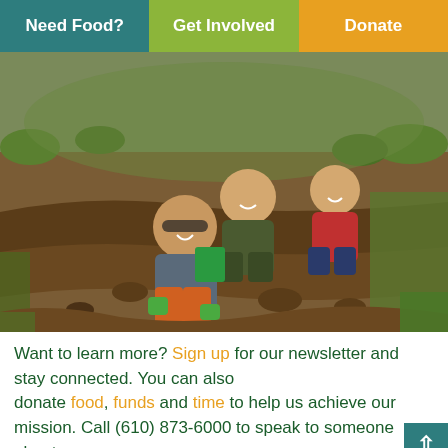Need Food?  Get Involved  Donate
[Figure (photo): Three young volunteers crouching in a garden dirt row, smiling at camera. The boy in the foreground wears glasses and green gardening gloves, holding a green crate. Behind him are two older boys/young men, one in a dark tank top and one in a red shirt. They appear to be harvesting or planting in a field.]
Want to learn more? Sign up for our newsletter and stay connected. You can also donate food, funds and time to help us achieve our mission. Call (610) 873-6000 to speak to someone about...